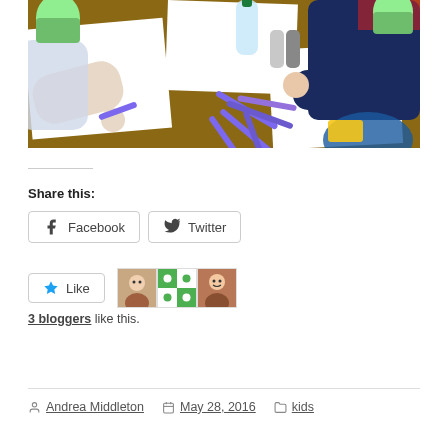[Figure (photo): Children drawing with crayons/markers at a wooden table. Green cups, water bottles, salt and pepper shakers, and scattered markers/pens visible on the table.]
Share this:
Facebook  Twitter
Like  [avatar 1] [avatar 2] [avatar 3]
3 bloggers like this.
Andrea Middleton  May 28, 2016  kids